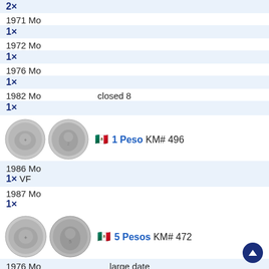2×
1971 Mo
1×
1972 Mo
1×
1976 Mo
1×
1982 Mo    closed 8
1×
[Figure (photo): Two silver coins for 1 Peso KM# 496]
🇲🇽 1 Peso KM# 496
1986 Mo
1× VF
1987 Mo
1×
[Figure (photo): Two silver coins for 5 Pesos KM# 472]
🇲🇽 5 Pesos KM# 472
1976 Mo    large date